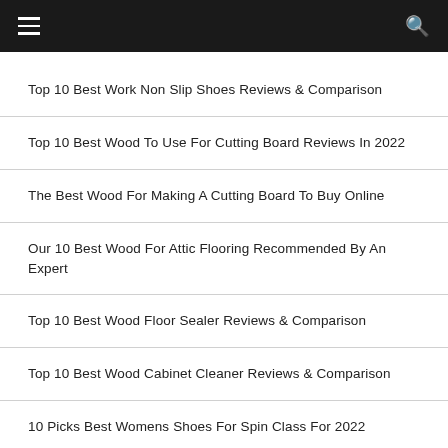Navigation header with menu and search icons
Top 10 Best Work Non Slip Shoes Reviews & Comparison
Top 10 Best Wood To Use For Cutting Board Reviews In 2022
The Best Wood For Making A Cutting Board To Buy Online
Our 10 Best Wood For Attic Flooring Recommended By An Expert
Top 10 Best Wood Floor Sealer Reviews & Comparison
Top 10 Best Wood Cabinet Cleaner Reviews & Comparison
10 Picks Best Womens Shoes For Spin Class For 2022
The Best Womens Shoes For Sightseeing To Buy Online